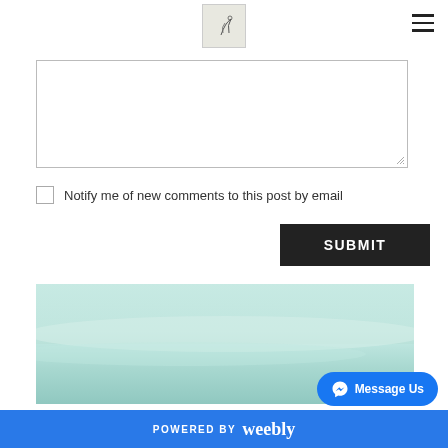[Figure (screenshot): Empty comment textarea form field with resize handle]
Notify me of new comments to this post by email
SUBMIT
[Figure (photo): Aqua/teal colored abstract background image]
Message Us
POWERED BY weebly